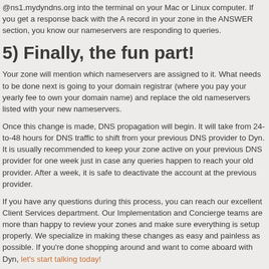@ns1.mydyndns.org into the terminal on your Mac or Linux computer. If you get a response back with the A record in your zone in the ANSWER section, you know our nameservers are responding to queries.
5) Finally, the fun part!
Your zone will mention which nameservers are assigned to it. What needs to be done next is going to your domain registrar (where you pay your yearly fee to own your domain name) and replace the old nameservers listed with your new nameservers.
Once this change is made, DNS propagation will begin. It will take from 24-to-48 hours for DNS traffic to shift from your previous DNS provider to Dyn. It is usually recommended to keep your zone active on your previous DNS provider for one week just in case any queries happen to reach your old provider. After a week, it is safe to deactivate the account at the previous provider.
If you have any questions during this process, you can reach our excellent Client Services department. Our Implementation and Concierge teams are more than happy to review your zones and make sure everything is setup properly. We specialize in making these changes as easy and painless as possible. If you're done shopping around and want to come aboard with Dyn, let's start talking today!